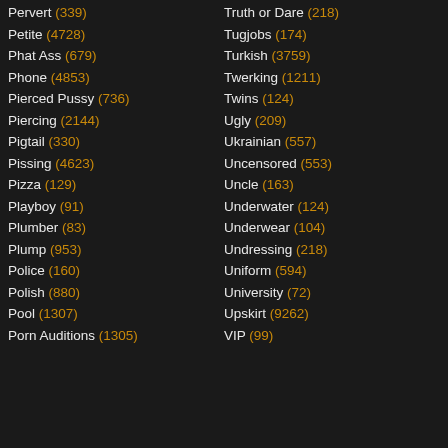Pervert (339)
Petite (4728)
Phat Ass (679)
Phone (4853)
Pierced Pussy (736)
Piercing (2144)
Pigtail (330)
Pissing (4623)
Pizza (129)
Playboy (91)
Plumber (83)
Plump (953)
Police (160)
Polish (880)
Pool (1307)
Porn Auditions (1305)
Truth or Dare (218)
Tugjobs (174)
Turkish (3759)
Twerking (1211)
Twins (124)
Ugly (209)
Ukrainian (557)
Uncensored (553)
Uncle (163)
Underwater (124)
Underwear (104)
Undressing (218)
Uniform (594)
University (72)
Upskirt (9262)
VIP (99)